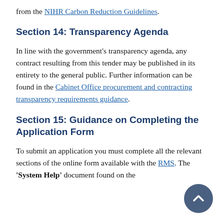from the NIHR Carbon Reduction Guidelines.
Section 14: Transparency Agenda
In line with the government's transparency agenda, any contract resulting from this tender may be published in its entirety to the general public. Further information can be found in the Cabinet Office procurement and contracting transparency requirements guidance.
Section 15: Guidance on Completing the Application Form
To submit an application you must complete all the relevant sections of the online form available with the RMS. The 'System Help' document found on the